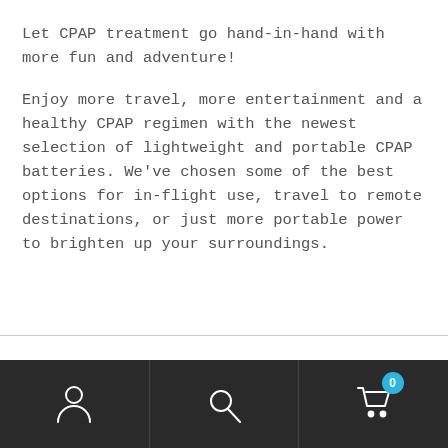Let CPAP treatment go hand-in-hand with more fun and adventure!
Enjoy more travel, more entertainment and a healthy CPAP regimen with the newest selection of lightweight and portable CPAP batteries. We've chosen some of the best options for in-flight use, travel to remote destinations, or just more portable power to brighten up your surroundings.
We use cookies on our website to give you the most relevant experience by remembering your preferences and repeat visits. By clicking “Accept”, you consent to the use of ALL the cookies.
Do not sell my personal information.
Navigation bar with account, search, and cart icons